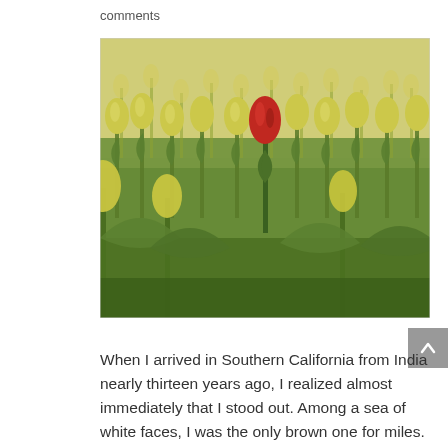comments
[Figure (photo): A field of yellow/cream tulips with a single red tulip standing out in the center, photographed with shallow depth of field against a soft yellow-green background.]
When I arrived in Southern California from India nearly thirteen years ago, I realized almost immediately that I stood out. Among a sea of white faces, I was the only brown one for miles. My looks and accent gave me away